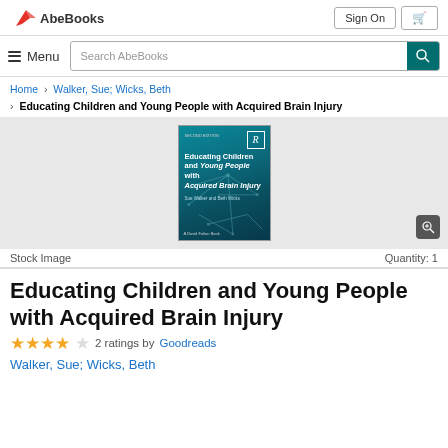AbeBooks | Sign On | Cart
Menu | Search AbeBooks
Home > Walker, Sue; Wicks, Beth > Educating Children and Young People with Acquired Brain Injury
[Figure (photo): Book cover: Educating Children and Young People with Acquired Brain Injury by Sue Walker and Beth Wicks. Teal/dark blue geometric network design with Routledge R logo. A David Fulton Book.]
Stock Image                          Quantity: 1
Educating Children and Young People with Acquired Brain Injury
★★★★☆ 2 ratings by Goodreads
Walker, Sue; Wicks, Beth